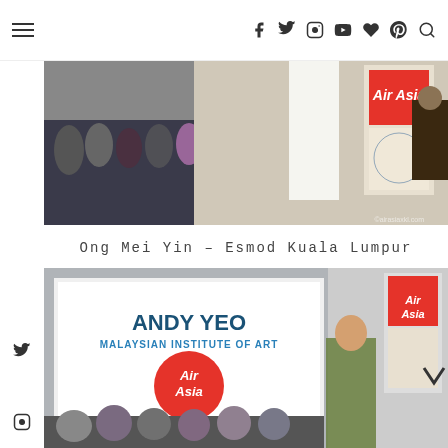Navigation bar with hamburger menu and social icons: Facebook, Twitter, Instagram, YouTube, Heart, Pinterest, Search
[Figure (photo): Fashion show runway photo: audience seated on left, a model in white outfit on runway center, AirAsia branded banner on right, photographer on far right]
Ong Mei Yin – Esmod Kuala Lumpur
[Figure (photo): Fashion show photo: large projection screen showing 'ANDY YEO - MALAYSIAN INSTITUTE OF ART' with AirAsia logo, a female model in colorful outfit on runway, audience seated in background, AirAsia branded banner on right]